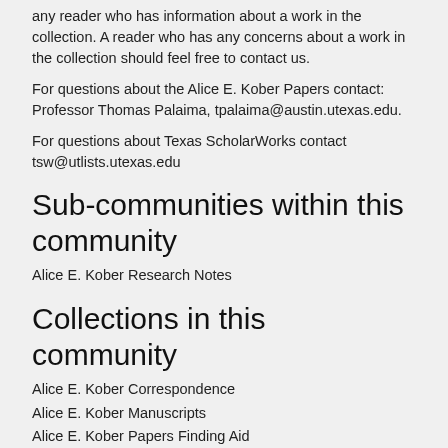any reader who has information about a work in the collection. A reader who has any concerns about a work in the collection should feel free to contact us.
For questions about the Alice E. Kober Papers contact: Professor Thomas Palaima, tpalaima@austin.utexas.edu.
For questions about Texas ScholarWorks contact tsw@utlists.utexas.edu
Sub-communities within this community
Alice E. Kober Research Notes
Collections in this community
Alice E. Kober Correspondence
Alice E. Kober Manuscripts
Alice E. Kober Papers Finding Aid
Finding Aid
Recent Submissions